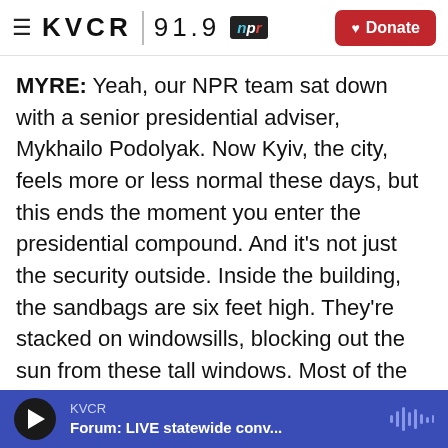KVCR 91.9 NPR | Donate
MYRE: Yeah, our NPR team sat down with a senior presidential adviser, Mykhailo Podolyak. Now Kyiv, the city, feels more or less normal these days, but this ends the moment you enter the presidential compound. And it's not just the security outside. Inside the building, the sandbags are six feet high. They're stacked on windowsills, blocking out the sun from these tall windows. Most of the lights are off. The hallways are dark and mostly empty. When we finally got to Podolyak's office, he's like a lot of people in the Zelenskyy administration, young and casual. He's in a black T-shirt that reads fight like Ukrainians. He says he's working around the clock
KVCR | Forum: LIVE statewide conv...